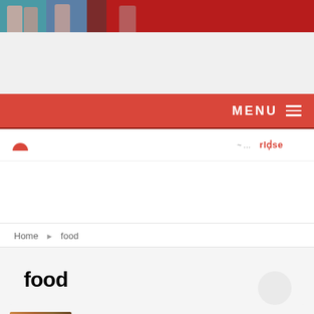[Figure (photo): Website banner with people photos — teal, blue, and dark red sections with person silhouettes, plus a large red area on the right]
[Figure (screenshot): Red navigation bar with MENU label and hamburger icon on the right]
[Figure (logo): Logo bar with red semicircle icon on left and partial logos/text on the right side]
Home › food
food